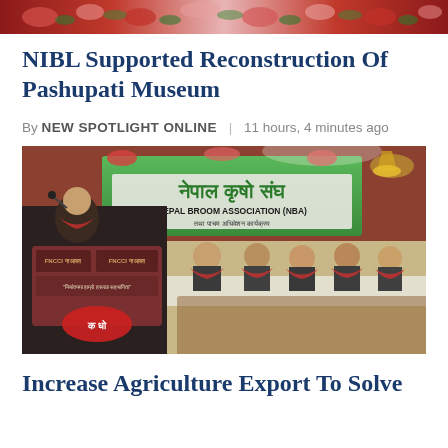[Figure (photo): Top decorative banner image with red and pink flower garlands]
NIBL Supported Reconstruction Of Pashupati Museum
By NEW SPOTLIGHT ONLINE | 11 hours, 4 minutes ago
[Figure (photo): Photo of a man speaking at a podium at Nepal Broom Association (NBA) event. A banner in Nepali and English reads 'NEPAL BROOM ASSOCIATION (NBA)'. Several men are seated behind a table wearing traditional Nepali scarves. FNCCI and NCCI logos visible on podium.]
Increase Agriculture Export To Solve